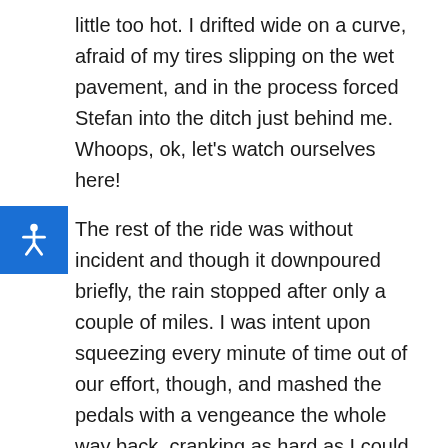little too hot. I drifted wide on a curve, afraid of my tires slipping on the wet pavement, and in the process forced Stefan into the ditch just behind me. Whoops, ok, let's watch ourselves here!
The rest of the ride was without incident and though it downpoured briefly, the rain stopped after only a couple of miles. I was intent upon squeezing every minute of time out of our effort, though, and mashed the pedals with a vengeance the whole way back, cranking as hard as I could into the headwind with Stefan hanging behind in the draft, resting up for the soul-crushing rollers on the last 10mi from Lyons to Boulder.